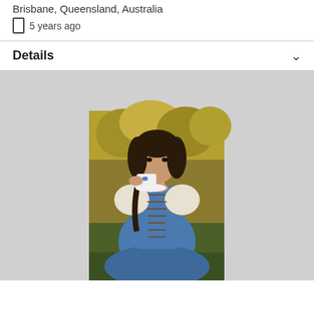Brisbane, Queensland, Australia
📱 5 years ago
Details
[Figure (photo): A woman dressed in a blue Belle-style costume with white puff sleeves and brown lacing, wearing a dark curly wig, drinking from a white teacup and saucer, outdoors with green/yellow foliage in background.]